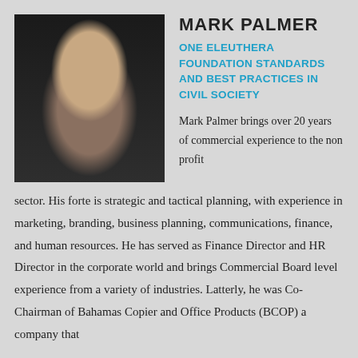[Figure (photo): Headshot of Mark Palmer, a man with wavy brown hair wearing a grey shirt, smiling, against a dark background.]
MARK PALMER
ONE ELEUTHERA FOUNDATION STANDARDS AND BEST PRACTICES IN CIVIL SOCIETY
Mark Palmer brings over 20 years of commercial experience to the non profit sector. His forte is strategic and tactical planning, with experience in marketing, branding, business planning, communications, finance, and human resources. He has served as Finance Director and HR Director in the corporate world and brings Commercial Board level experience from a variety of industries. Latterly, he was Co-Chairman of Bahamas Copier and Office Products (BCOP) a company that